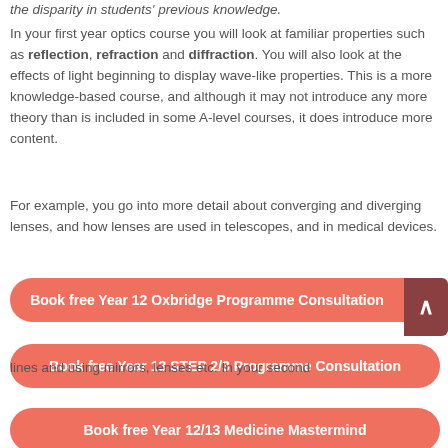the disparity in students' previous knowledge.
In your first year optics course you will look at familiar properties such as reflection, refraction and diffraction. You will also look at the effects of light beginning to display wave-like properties. This is a more knowledge-based course, and although it may not introduce any more theory than is included in some A-level courses, it does introduce more content.
For example, you go into more detail about converging and diverging lenses, and how lenses are used in telescopes, and in medical devices.
Book free Year 12 Oxbridge Programme Consultation
Book free Year 13 STEP 2/3 Programme Consultation
lines and using mirrors, lenses etc. In your second
Book free Year 12/13 Medicine Mastermind
will now treat light as an actual propagating electromagnetic wave which can diffract and